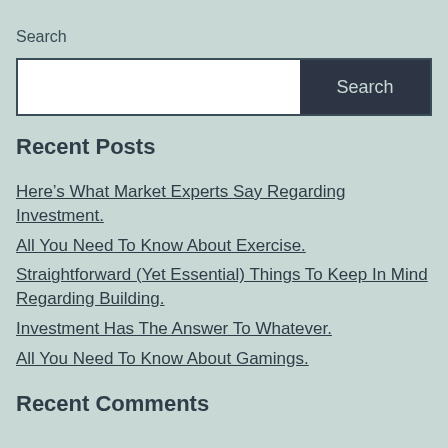Search
[Search input box with Search button]
Recent Posts
Here’s What Market Experts Say Regarding Investment.
All You Need To Know About Exercise.
Straightforward (Yet Essential) Things To Keep In Mind Regarding Building.
Investment Has The Answer To Whatever.
All You Need To Know About Gamings.
Recent Comments